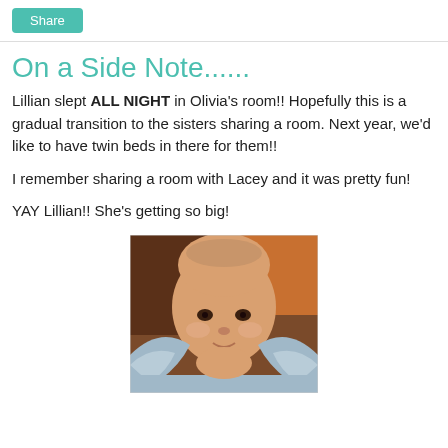Share
On a Side Note......
Lillian slept ALL NIGHT in Olivia's room!! Hopefully this is a gradual transition to the sisters sharing a room. Next year, we'd like to have twin beds in there for them!!
I remember sharing a room with Lacey and it was pretty fun!
YAY Lillian!! She's getting so big!
[Figure (photo): Close-up photo of a baby with light skin and sparse hair, wrapped in a light blue knit blanket, looking at the camera. Background shows brown and orange tones.]